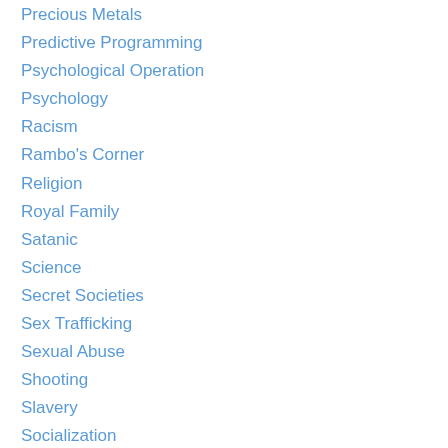Precious Metals
Predictive Programming
Psychological Operation
Psychology
Racism
Rambo's Corner
Religion
Royal Family
Satanic
Science
Secret Societies
Sex Trafficking
Sexual Abuse
Shooting
Slavery
Socialization